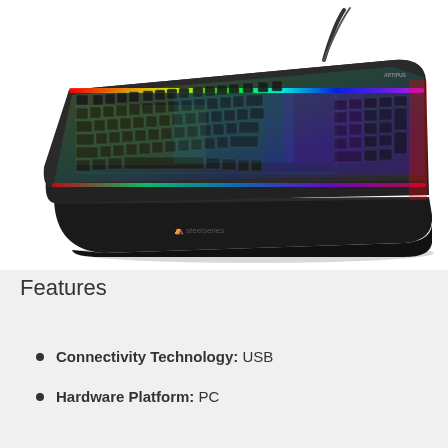[Figure (photo): SteelSeries gaming keyboard (Apex Pro or similar) with full RGB rainbow lighting illuminating the keys, shown at an angle with a black wrist rest attached at the bottom. The keyboard has a USB cable exiting from the top. The SteelSeries logo is visible on the wrist rest.]
Features
Connectivity Technology: USB
Hardware Platform: PC